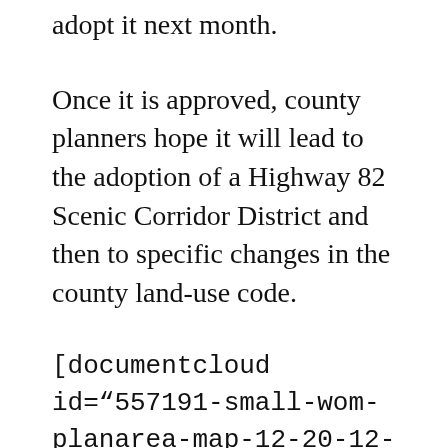adopt it next month.
Once it is approved, county planners hope it will lead to the adoption of a Highway 82 Scenic Corridor District and then to specific changes in the county land-use code.
[documentcloud id="557191-small-wom-planarea-map-12-20-12-4-publish"]
The recommendations could influence the height and placement of new buildings at the airport, the ABC, Buttermilk and other “activity nodes” along the highway corridor.